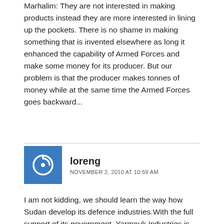Marhalim: They are not interested in making products instead they are more interested in lining up the pockets. There is no shame in making something that is invented elsewhere as long it enhanced the capability of Armed Forces and make some money for its producer. But our problem is that the producer makes tonnes of money while at the same time the Armed Forces goes backward...
loreng
NOVEMBER 2, 2010 AT 10:59 AM
I am not kidding, we should learn the way how Sudan develop its defence industries.With the full support of its government, Yarmouk Industries is fully established to manufacture all the basic items needed by the Sudanese Infantry/Artillery, such small and medium calibre ammunition, AK47 rifle, RPGs, 7.62mm Machine Guns, 82/122 mm mortar and 122mm